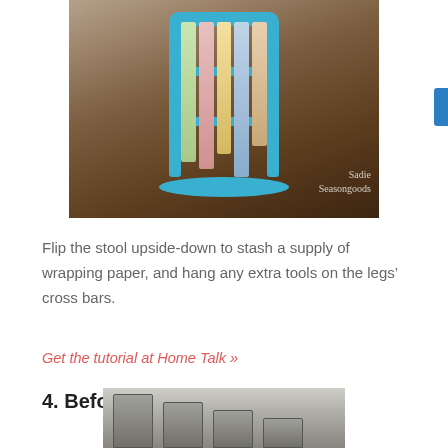[Figure (photo): A blue wooden stool flipped upside-down holding multiple rolls of wrapping paper, with scissors hanging from the crossbars. Watermark reads 'Sadie Seasongoods'. Photographed on a wooden floor.]
Flip the stool upside-down to stash a supply of wrapping paper, and hang any extra tools on the legs’ cross bars.
Get the tutorial at Home Talk »
4. Before: Cake Pans
[Figure (photo): Bottom portion of a photo showing stacked cake pans or metal baking pans arranged vertically.]